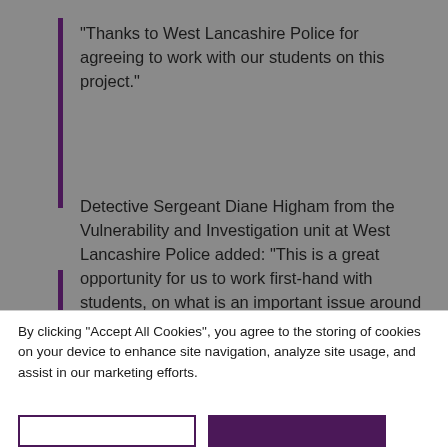“Thanks to West Lancashire Police for agreeing to work with our students on this project.”
Detective Sergeant Diane Higham from the Vulnerability and Investigation unit at West Lancashire Police added: “This is a great opportunity for us to work first-hand with students, on what is an important issue around student safety.
By clicking “Accept All Cookies”, you agree to the storing of cookies on your device to enhance site navigation, analyze site usage, and assist in our marketing efforts.